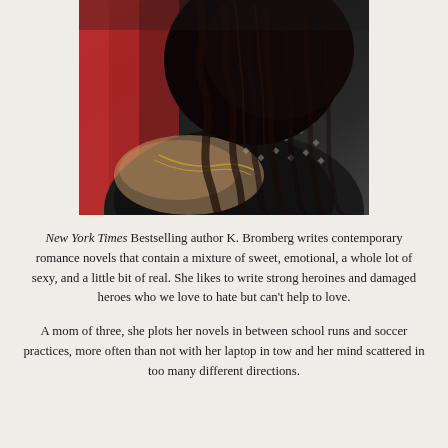[Figure (photo): Photo of a woman with long dark wavy hair, wearing a black studded/embellished jacket, with a gold chain necklace. The background shows red fabric on the left side. The image is cropped showing her from neck to head, face not visible.]
New York Times Bestselling author K. Bromberg writes contemporary romance novels that contain a mixture of sweet, emotional, a whole lot of sexy, and a little bit of real. She likes to write strong heroines and damaged heroes who we love to hate but can't help to love.
A mom of three, she plots her novels in between school runs and soccer practices, more often than not with her laptop in tow and her mind scattered in too many different directions.